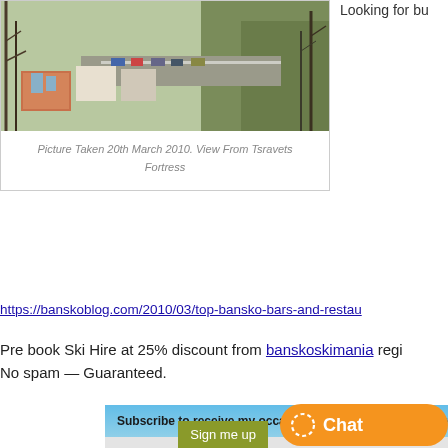[Figure (photo): Aerial/elevated view of a town with buildings, roads, and trees. Picture taken 20th March 2010, View From Tsravets Fortress.]
Picture Taken 20th March 2010. View From Tsravets Fortress
Looking for bu...
https://banskoblog.com/2010/03/top-bansko-bars-and-restau...
Pre book Ski Hire at 25% discount from banskoskimania regi... No spam — Guaranteed.
Subscribe to receive my occaisional email Bansko newslette...
Name:
Email
Sign me up
Chat